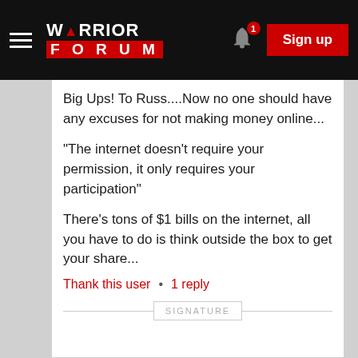Warrior Forum — Sign up
Big Ups! To Russ....Now no one should have any excuses for not making money online...
"The internet doesn't require your permission, it only requires your participation"
There's tons of $1 bills on the internet, all you have to do is think outside the box to get your share...
Thank this user · 1 reply
SIGNATURE